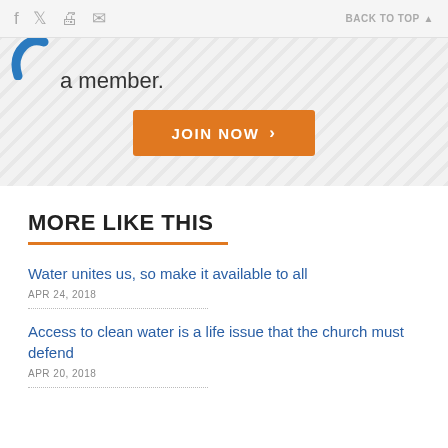f  social icons  BACK TO TOP ▲
a member.
JOIN NOW >
MORE LIKE THIS
Water unites us, so make it available to all
APR 24, 2018
Access to clean water is a life issue that the church must defend
APR 20, 2018